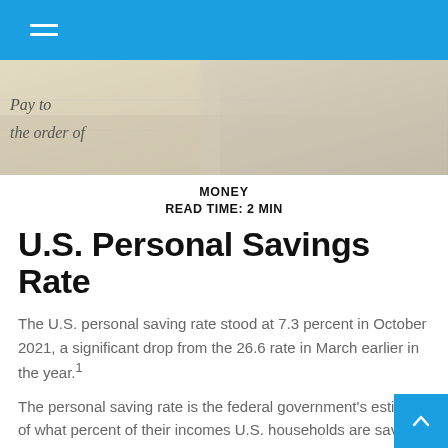[Figure (photo): Navigation bar with hamburger menu icon on blue background]
[Figure (photo): Close-up photo of a check showing 'Pay to the order of' text, blurred background]
MONEY
READ TIME: 2 MIN
U.S. Personal Savings Rate
The U.S. personal saving rate stood at 7.3 percent in October 2021, a significant drop from the 26.6 rate in March earlier in the year.1
The personal saving rate is the federal government's estimate of what percent of their incomes U.S. households are saving. But market watchers and economists are